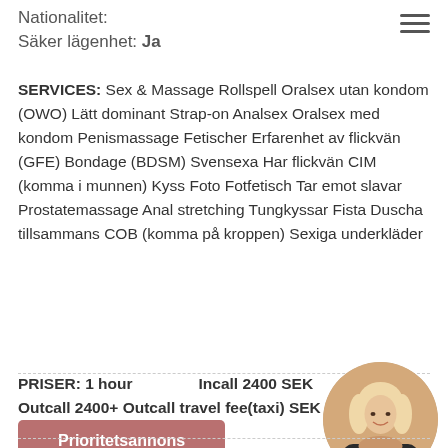Nationalitet:
Säker lägenhet: Ja
SERVICES: Sex & Massage Rollspell Oralsex utan kondom (OWO) Lätt dominant Strap-on Analsex Oralsex med kondom Penismassage Fetischer Erfarenhet av flickvän (GFE) Bondage (BDSM) Svensexa Har flickvän CIM (komma i munnen) Kyss Foto Fotfetisch Tar emot slavar Prostatemassage Anal stretching Tungkyssar Fista Duscha tillsammans COB (komma på kroppen) Sexiga underkläder
PRISER: 1 hour   Incall 2400 SEK
Outcall 2400+ Outcall travel fee(taxi) SEK
Prioritetsannons
[Figure (photo): Circular photo of a blonde woman]